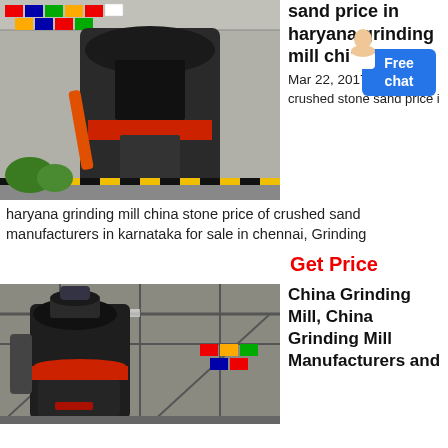[Figure (photo): Large industrial grinding mill machine (dark grey/black) inside a factory with colorful flags in the background]
sand price in haryana grinding mill china
Mar 22, 2017
crushed stone sand price in
haryana grinding mill china stone price of crushed sand manufacturers in karnataka for sale in chennai, Grinding
Get Price
[Figure (photo): Industrial grinding mill machine in a factory/warehouse with steel structure and colorful flags visible in background]
China Grinding Mill, China Grinding Mill Manufacturers and